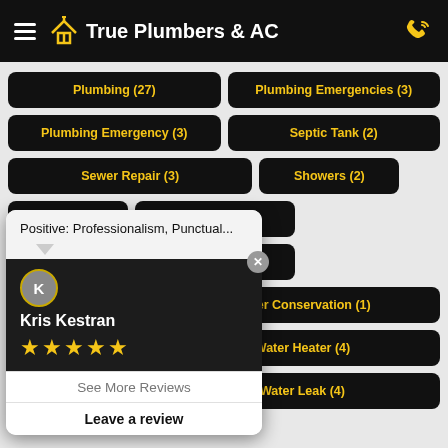True Plumbers & AC
Plumbing (27)
Plumbing Emergencies (3)
Plumbing Emergency (3)
Septic Tank (2)
Sewer Repair (3)
Showers (2)
Sinks (6)
Slab Leak (1)
Technology (1)
Toilets (9)
Unclog A Drain (2)
Water Conservation (1)
Water Filtration (1)
Water Heater (4)
Water Leak (4)
[Figure (screenshot): Popup review tooltip showing 'Positive: Professionalism, Punctual...' with reviewer Kris Kestran, 4-star rating, 'See More Reviews' and 'Leave a review' buttons]